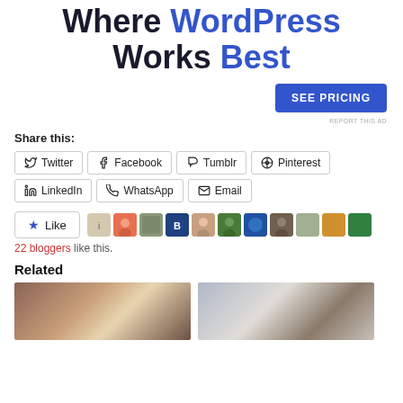Where WordPress Works Best
[Figure (other): Blue 'SEE PRICING' button]
REPORT THIS AD
Share this:
Twitter  Facebook  Tumblr  Pinterest  LinkedIn  WhatsApp  Email
[Figure (other): Like button with star icon and 10 blogger avatar thumbnails]
22 bloggers like this.
Related
[Figure (photo): Laptop with coffee cup latte art on wooden table]
[Figure (photo): Person lying down using laptop on white table]